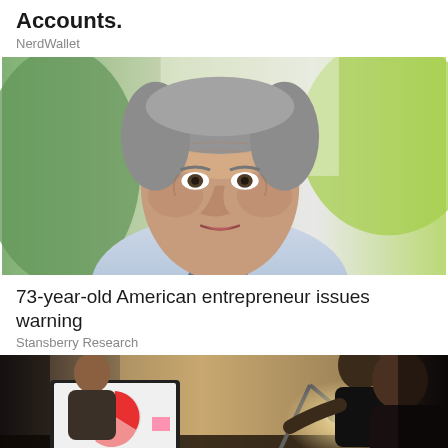Accounts.
NerdWallet
[Figure (photo): Close-up portrait of an older man, approximately 70s, with grey hair, wearing a light blue shirt, looking off to the side. Green blurred foliage visible in background.]
73-year-old American entrepreneur issues warning
Stansberry Research
[Figure (photo): Two people working at a desk with a laptop showing charts/graphs, a desk lamp illuminating the scene. Dark background.]